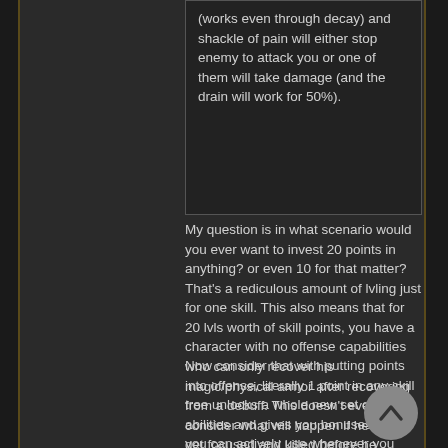(works even through decay) and shackle of pain will either stop enemy to attack you or one of them will take damage (and the drain will work for 50%).
My question is in what scenario would you ever want to invest 20 points in anything? or even 10 for that matter? That's a rediculous amount of lvling just for one skill. This also means that for 20 lvls worth of skill points, you have a character with no offense capabilities who can only recover his magic/physical armor after recovering from a debuff. This doesn't even consider what will happen if he does get focused and killed before he recovers.
Now consider that with putting points into offense, literally 1 point in any skill tree unlocks a whole new set of abilities and gives you bonuses that you can actively use whenever you want. for 20 points, you can learn every skill in the game (assuming lvl 2 is the max requirement for a skill, not including abilities tied to specific companions). even if you put all 20 skill points into offense skills, you can't